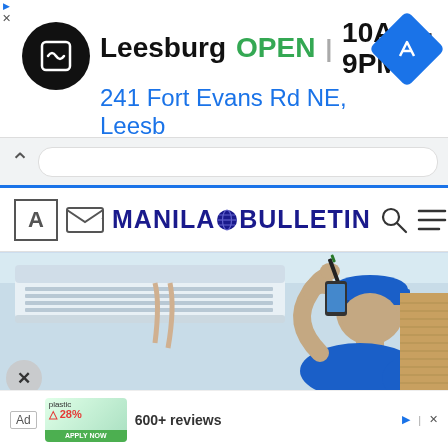[Figure (screenshot): Advertisement banner for a store in Leesburg showing logo, OPEN status, hours 10AM-9PM, and address 241 Fort Evans Rd NE, Leesb with navigation arrow icon]
[Figure (screenshot): Browser navigation bar with chevron up and URL input field, with blue bottom border]
[Figure (screenshot): Manila Bulletin website header with font size icon, envelope/mail icon, Manila Bulletin logo with globe icon, search icon and hamburger menu icon]
[Figure (photo): A technician in a blue cap and blue shirt using a screwdriver to service a wall-mounted split air conditioning unit]
Ad  600+ reviews